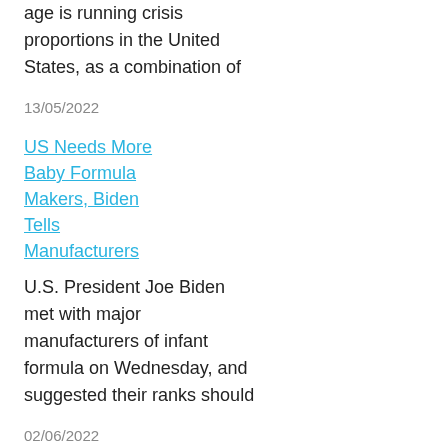age is running crisis proportions in the United States, as a combination of
13/05/2022
US Needs More Baby Formula Makers, Biden Tells Manufacturers
U.S. President Joe Biden met with major manufacturers of infant formula on Wednesday, and suggested their ranks should
02/06/2022
Biden Invokes Defense Production Act